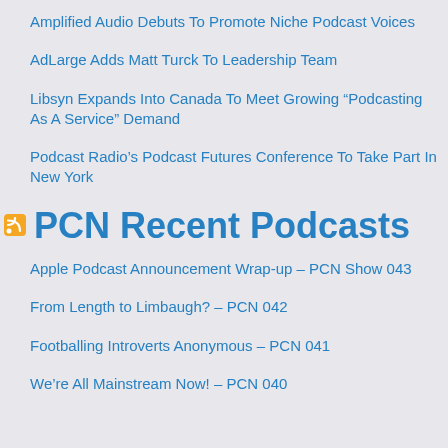Amplified Audio Debuts To Promote Niche Podcast Voices
AdLarge Adds Matt Turck To Leadership Team
Libsyn Expands Into Canada To Meet Growing “Podcasting As A Service” Demand
Podcast Radio’s Podcast Futures Conference To Take Part In New York
PCN Recent Podcasts
Apple Podcast Announcement Wrap-up – PCN Show 043
From Length to Limbaugh? – PCN 042
Footballing Introverts Anonymous – PCN 041
We’re All Mainstream Now! – PCN 040